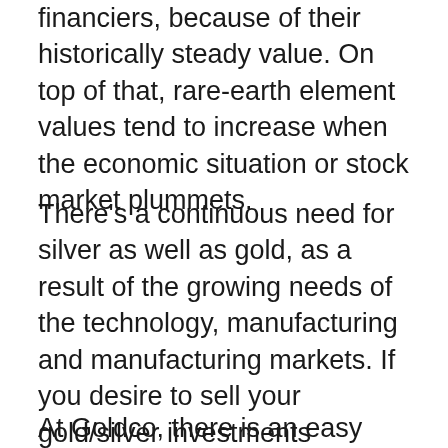financiers, because of their historically steady value. On top of that, rare-earth element values tend to increase when the economic situation or stock market plummets.
There's a continuous need for silver as well as gold, as a result of the growing needs of the technology, manufacturing and manufacturing markets. If you desire to sell your gold/silver investments subsequently for any type of objective, you can do this conveniently as well as get fiat money in return for your precious metals. With home investments, you might be incapable to offer so rapidly.
At Goldco, there is an easy procedure that